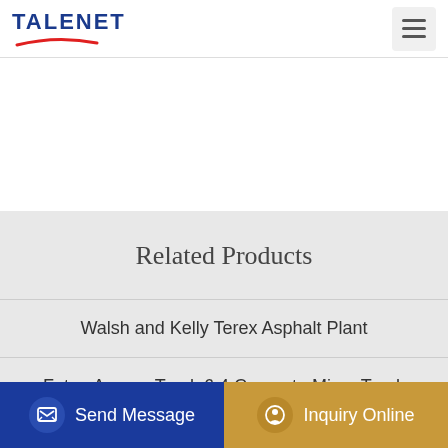TALENET
Related Products
Walsh and Kelly Terex Asphalt Plant
Foton Auman Truck 6 4 Concrete Mixer Truck
Dijual Cepat Truck Concrete Pump JHL 110B 7E21 command concrete pumping Tanzania